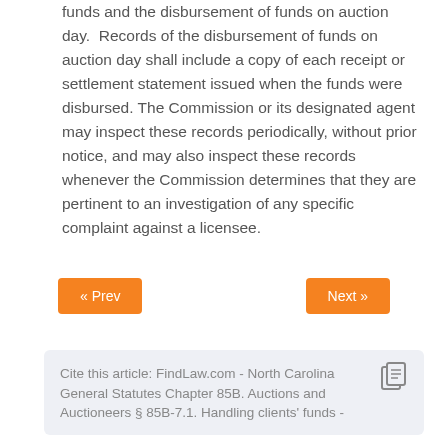funds and the disbursement of funds on auction day. Records of the disbursement of funds on auction day shall include a copy of each receipt or settlement statement issued when the funds were disbursed. The Commission or its designated agent may inspect these records periodically, without prior notice, and may also inspect these records whenever the Commission determines that they are pertinent to an investigation of any specific complaint against a licensee.
« Prev
Next »
Cite this article: FindLaw.com - North Carolina General Statutes Chapter 85B. Auctions and Auctioneers § 85B-7.1. Handling clients' funds -